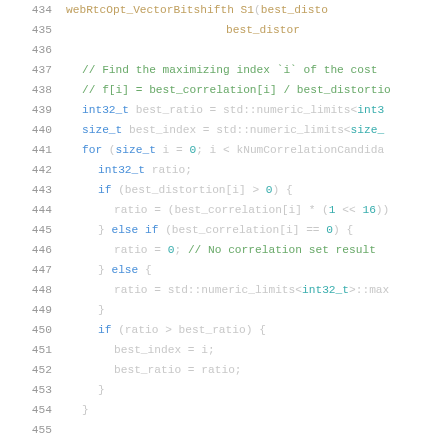[Figure (screenshot): Source code editor screenshot showing C++ code lines 434-455 with syntax highlighting. Line numbers in gray on left, code with colored keywords (blue for types/keywords, teal for template types, green for comments, orange for identifiers) on white background.]